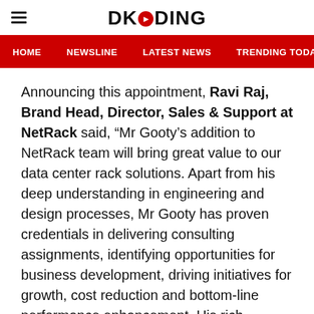DKODING
HOME  NEWSLINE  LATEST NEWS  TRENDING TODAY  ENT
Announcing this appointment, Ravi Raj, Brand Head, Director, Sales & Support at NetRack said, “Mr Gooty’s addition to NetRack team will bring great value to our data center rack solutions. Apart from his deep understanding in engineering and design processes, Mr Gooty has proven credentials in delivering consulting assignments, identifying opportunities for business development, driving initiatives for growth, cost reduction and bottom-line performance enhancement. His rich industry experience from leading IT companies makes